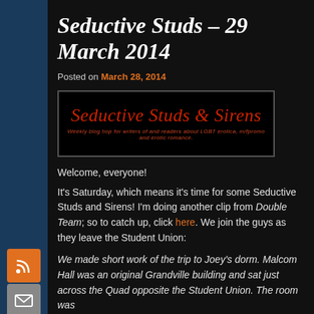Seductive Studs – 29 March 2014
Posted on March 28, 2014
[Figure (logo): Seductive Studs & Sirens logo — red gothic text on black background with subtitle tagline]
Welcome, everyone!
It's Saturday, which means it's time for some Seductive Studs and Sirens! I'm doing another clip from Double Team; so to catch up, click here. We join the guys as they leave the Student Union:
We made short work of the trip to Joey's dorm. Malcom Hall was an original Grandville building and sat just across the Quad opposite the Student Union. The room was